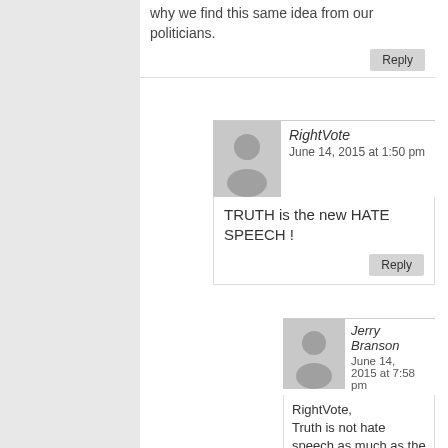why we find this same idea from our politicians.
Reply
RightVote
June 14, 2015 at 1:50 pm
TRUTH is the new HATE SPEECH !
Reply
Jerry Branson
June 14, 2015 at 7:58 pm
RightVote, Truth is not hate speech as much as the loonies insist. But then they do not know what truth is. They insist